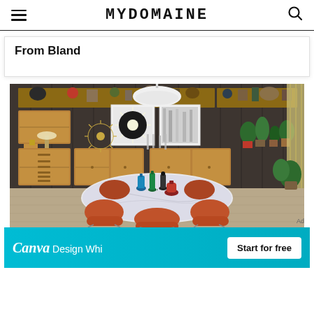MYDOMAINE
From Bland
[Figure (photo): Mid-century modern dining room with orange tulip chairs around a white marble oval table, wood wall-mounted shelving units with decorative objects, framed black and white artwork, white pendant lamp, and colorful glass decanters on the table.]
[Figure (infographic): Canva advertisement banner: teal/cyan background with white Canva logo in italic script, text 'Design Whi', and a white 'Start for free' button on the right.]